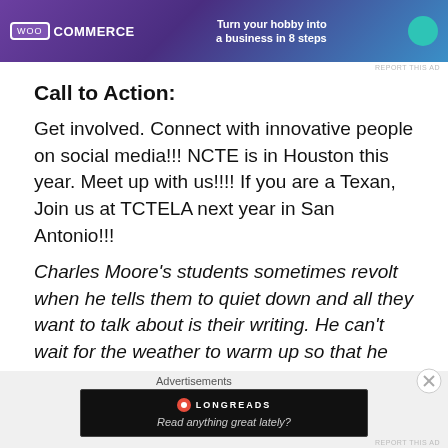[Figure (other): WooCommerce advertisement banner: purple/teal gradient background with WooCommerce logo on left and tagline 'Turn your hobby into a business in 8 steps' on right]
REPORT THIS AD
Call to Action:
Get involved.  Connect with innovative people on social media!!!  NCTE is in Houston this year.  Meet up with us!!!!  If you are a Texan, Join us at TCTELA next year in San Antonio!!!
Charles Moore's students sometimes revolt when he tells them to quiet down and all they want to talk about is their writing.  He can't wait for the weather to warm up so that he can enjoy craw fish and his pool and maybe even devour craw fish while in the pool.  You can find his
Advertisements
[Figure (other): Longreads advertisement: black background with Longreads logo and text 'Read anything great lately?']